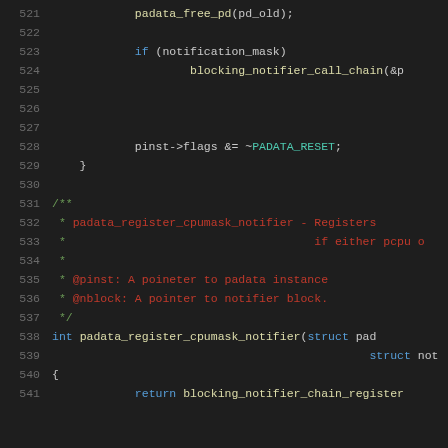Source code lines 521-541 from a C kernel source file (padata driver). Shows padata_free_pd, blocking_notifier_call_chain, pinst->flags &= ~PADATA_RESET, comment block for padata_register_cpumask_notifier, and function definition.